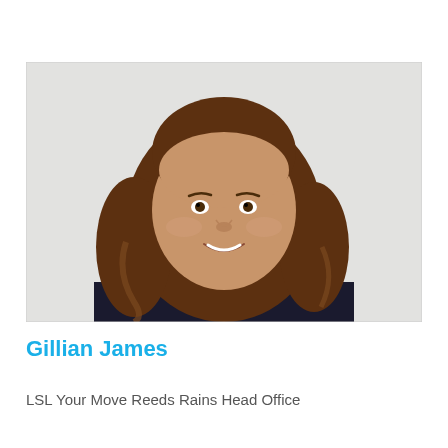[Figure (photo): Headshot photo of a woman with long brown wavy hair, smiling, wearing a dark top, against a light grey background. The photo has a light border.]
Gillian James
LSL Your Move Reeds Rains Head Office